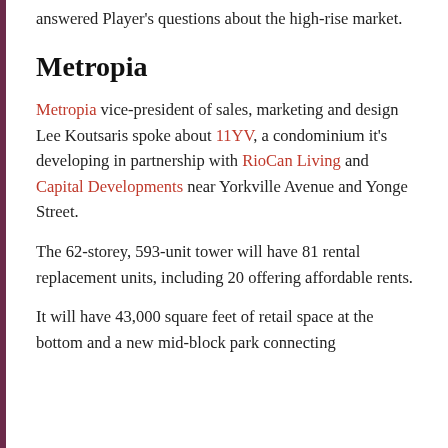They spoke about their current major projects and answered Player's questions about the high-rise market.
Metropia
Metropia vice-president of sales, marketing and design Lee Koutsaris spoke about 11YV, a condominium it's developing in partnership with RioCan Living and Capital Developments near Yorkville Avenue and Yonge Street.
The 62-storey, 593-unit tower will have 81 rental replacement units, including 20 offering affordable rents.
It will have 43,000 square feet of retail space at the bottom and a new mid-block park connecting